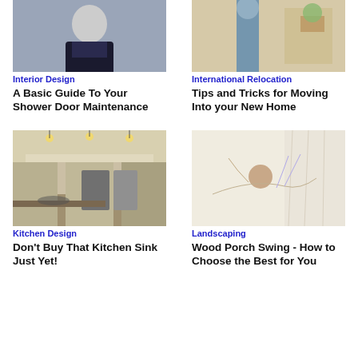[Figure (photo): Person wearing dark outfit, appears to be a professional photo for interior design article]
Interior Design
A Basic Guide To Your Shower Door Maintenance
[Figure (photo): Person with boxes and plants in background, international relocation theme]
International Relocation
Tips and Tricks for Moving Into your New Home
[Figure (photo): Modern kitchen interior with pendant lights, appliances, and kitchen island]
Kitchen Design
Don't Buy That Kitchen Sink Just Yet!
[Figure (photo): Person relaxing on a porch swing near curtained window]
Landscaping
Wood Porch Swing - How to Choose the Best for You